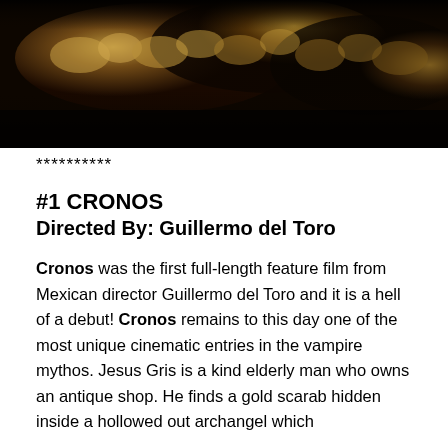[Figure (photo): Dark moody photograph with golden/amber organic textured forms against a near-black background, resembling cave formations or natural growths lit from above.]
**********
#1 CRONOS
Directed By: Guillermo del Toro
Cronos was the first full-length feature film from Mexican director Guillermo del Toro and it is a hell of a debut! Cronos remains to this day one of the most unique cinematic entries in the vampire mythos. Jesus Gris is a kind elderly man who owns an antique shop. He finds a gold scarab hidden inside a hollowed out archangel which